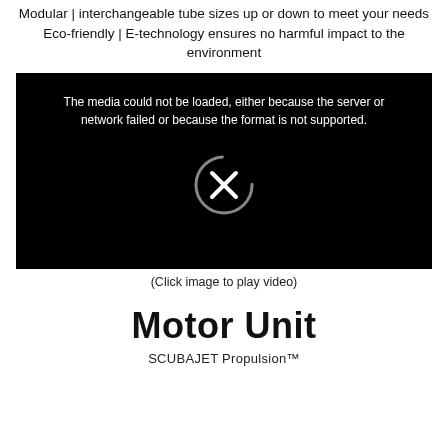Modular | interchangeable tube sizes up or down to meet your needs
Eco-friendly | E-technology ensures no harmful impact to the environment
[Figure (screenshot): Black video player box showing error message: 'The media could not be loaded, either because the server or network failed or because the format is not supported.' with a circular X icon in the center.]
(Click image to play video)
Motor Unit
SCUBAJET Propulsion™